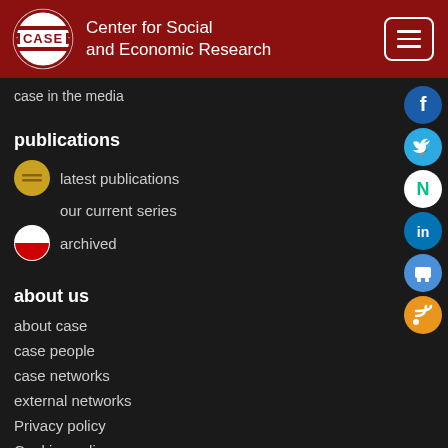Center for Social and Economic Research
case in the media
publications
latest publications
our current series
archived
about us
about case
case people
case networks
external networks
Privacy policy
Cookies policy